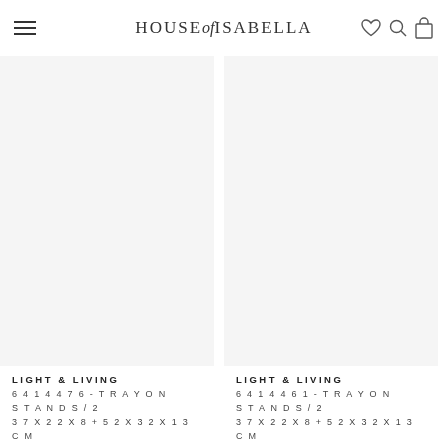HOUSE of ISABELLA
Sold Out
Sold Out
[Figure (photo): Product image placeholder left – sold out tray on stand item 6414476]
[Figure (photo): Product image placeholder right – sold out tray on stand item 6414461]
LIGHT & LIVING
6414476 - TRAY ON STAND S/2
37X22X8+52X32X13 CM
LIGHT & LIVING
6414461 - TRAY ON STAND S/2
37X22X8+52X32X13 CM